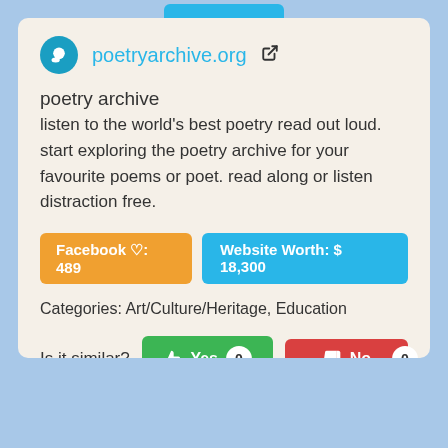poetryarchive.org
poetry archive
listen to the world's best poetry read out loud. start exploring the poetry archive for your favourite poems or poet. read along or listen distraction free.
Facebook ♡: 489
Website Worth: $ 18,300
Categories: Art/Culture/Heritage, Education
Is it similar?
Yes 0
No 0
Scroll Top